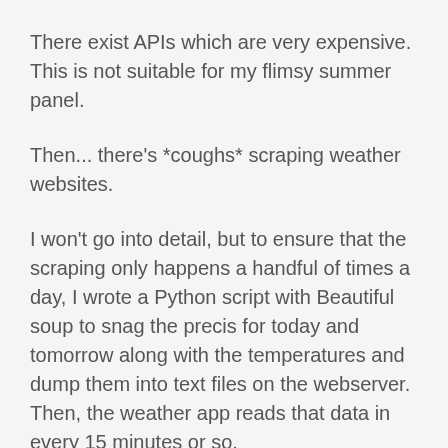There exist APIs which are very expensive. This is not suitable for my flimsy summer panel.
Then... there's *coughs* scraping weather websites.
I won't go into detail, but to ensure that the scraping only happens a handful of times a day, I wrote a Python script with Beautiful soup to snag the precis for today and tomorrow along with the temperatures and dump them into text files on the webserver. Then, the weather app reads that data in every 15 minutes or so.
Weather icons are usually pretty awful. I like these ones.